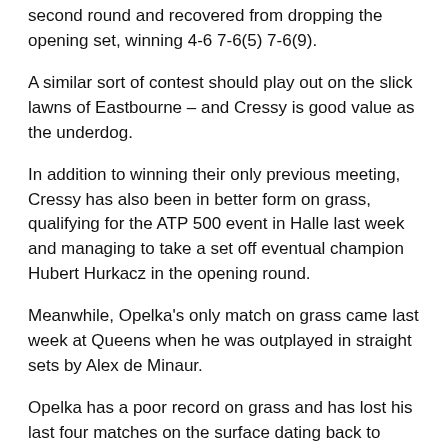second round and recovered from dropping the opening set, winning 4-6 7-6(5) 7-6(9).
A similar sort of contest should play out on the slick lawns of Eastbourne – and Cressy is good value as the underdog.
In addition to winning their only previous meeting, Cressy has also been in better form on grass, qualifying for the ATP 500 event in Halle last week and managing to take a set off eventual champion Hubert Hurkacz in the opening round.
Meanwhile, Opelka's only match on grass came last week at Queens when he was outplayed in straight sets by Alex de Minaur.
Opelka has a poor record on grass and has lost his last four matches on the surface dating back to 2019. In fact, Opelka has never won a regular ATP match at tour-level on grass in Europe in his entire career.
It's clear the big man finds it difficult to deal with the low